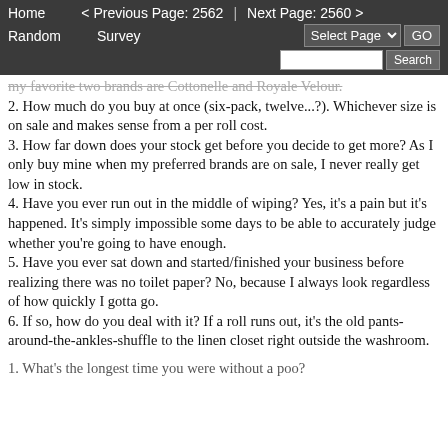Home   < Previous Page: 2562  |  Next Page: 2560 >   Random   Survey   Select Page  GO   Search
my favorite two brands are Cottonelle and Royale Velour.
2. How much do you buy at once (six-pack, twelve...?). Whichever size is on sale and makes sense from a per roll cost.
3. How far down does your stock get before you decide to get more? As I only buy mine when my preferred brands are on sale, I never really get low in stock.
4. Have you ever run out in the middle of wiping? Yes, it's a pain but it's happened. It's simply impossible some days to be able to accurately judge whether you're going to have enough.
5. Have you ever sat down and started/finished your business before realizing there was no toilet paper? No, because I always look regardless of how quickly I gotta go.
6. If so, how do you deal with it? If a roll runs out, it's the old pants-around-the-ankles-shuffle to the linen closet right outside the washroom.

1. What's the longest time you were without a poo?